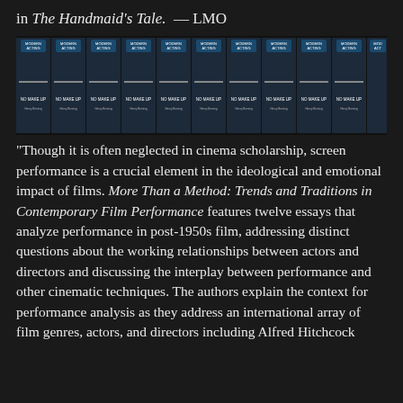in The Handmaid's Tale.  — LMO
[Figure (photo): A row of repeated book covers for 'No Make Up: Modern Acting' showing a person in dark clothing against a dark background, repeated approximately 11 times across the image.]
“Though it is often neglected in cinema scholarship, screen performance is a crucial element in the ideological and emotional impact of films. More Than a Method: Trends and Traditions in Contemporary Film Performance features twelve essays that analyze performance in post-1950s film, addressing distinct questions about the working relationships between actors and directors and discussing the interplay between performance and other cinematic techniques. The authors explain the context for performance analysis as they address an international array of film genres, actors, and directors including Alfred Hitchcock